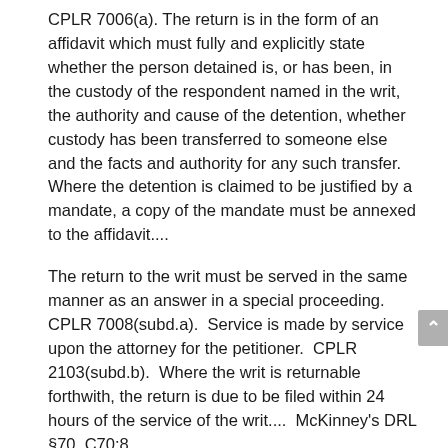CPLR 7006(a). The return is in the form of an affidavit which must fully and explicitly state whether the person detained is, or has been, in the custody of the respondent named in the writ, the authority and cause of the detention, whether custody has been transferred to someone else and the facts and authority for any such transfer. Where the detention is claimed to be justified by a mandate, a copy of the mandate must be annexed to the affidavit....
The return to the writ must be served in the same manner as an answer in a special proceeding. CPLR 7008(subd.a). Service is made by service upon the attorney for the petitioner. CPLR 2103(subd.b). Where the writ is returnable forthwith, the return is due to be filed within 24 hours of the service of the writ.... McKinney's DRL §70, C70:8
Based upon time constraints, I sent a young law student working for my office that first day to do the filing; and she